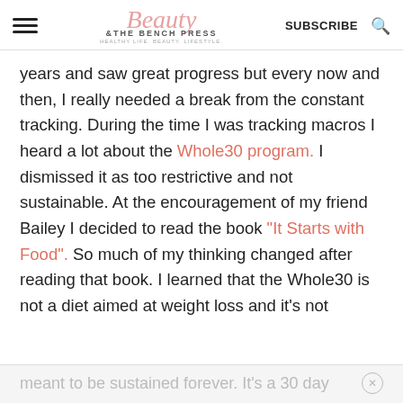Beauty & The Bench Press — SUBSCRIBE
years and saw great progress but every now and then, I really needed a break from the constant tracking. During the time I was tracking macros I heard a lot about the Whole30 program.  I dismissed it as too restrictive and not sustainable.  At the encouragement of my friend Bailey I decided to read the book "It Starts with Food".  So much of my thinking changed after reading that book. I learned that the Whole30 is not a diet aimed at weight loss and it's not
meant to be sustained forever.  It's a 30 day